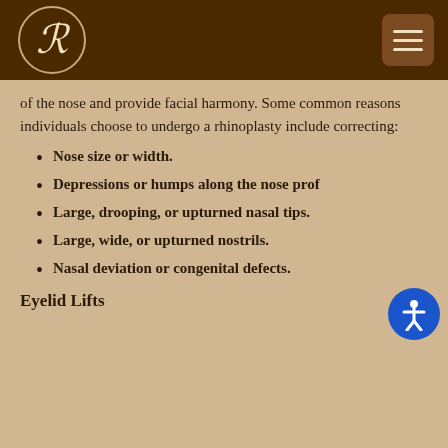[Figure (logo): Decorative R letter logo in white on dark brown circular background, with hamburger menu icon on right]
of the nose and provide facial harmony. Some common reasons individuals choose to undergo a rhinoplasty include correcting:
Nose size or width.
Depressions or humps along the nose profile.
Large, drooping, or upturned nasal tips.
Large, wide, or upturned nostrils.
Nasal deviation or congenital defects.
Eyelid Lifts
Also known as...